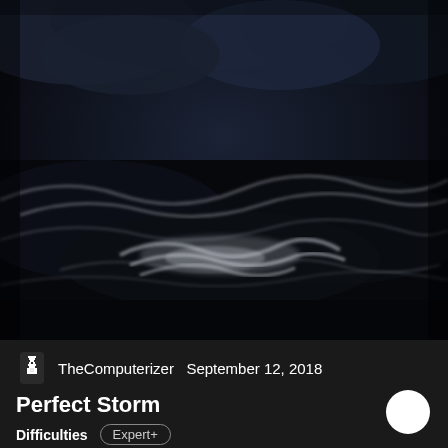[Figure (illustration): Dark dramatic painting of stormy ocean waves at night, rendered in dark blues and grays with white foam crests visible, dramatic cloudscape above]
TheComputerizer   September 12, 2018
Perfect Storm
Difficulties   Expert+